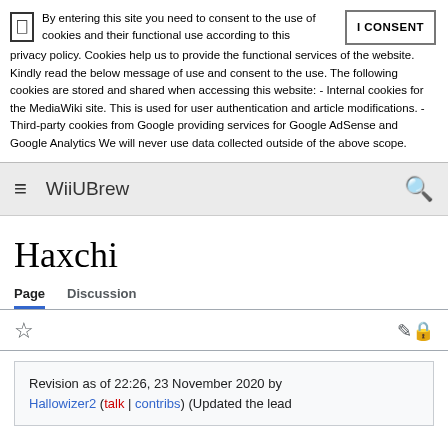By entering this site you need to consent to the use of cookies and their functional use according to this privacy policy. Cookies help us to provide the functional services of the website. Kindly read the below message of use and consent to the use. The following cookies are stored and shared when accessing this website: - Internal cookies for the MediaWiki site. This is used for user authentication and article modifications. - Third-party cookies from Google providing services for Google AdSense and Google Analytics We will never use data collected outside of the above scope.
WiiUBrew
Haxchi
Page   Discussion
Revision as of 22:26, 23 November 2020 by Hallowizer2 (talk | contribs) (Updated the lead